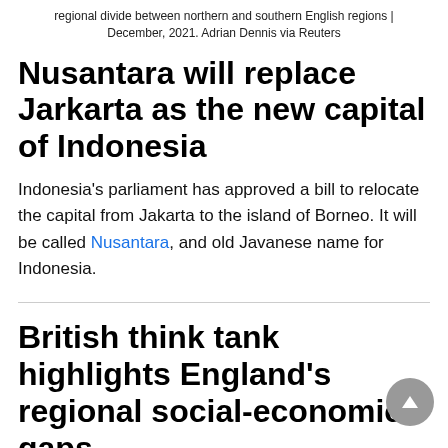regional divide between northern and southern English regions | December, 2021. Adrian Dennis via Reuters
Nusantara will replace Jarkarta as the new capital of Indonesia
Indonesia's parliament has approved a bill to relocate the capital from Jakarta to the island of Borneo. It will be called Nusantara, and old Javanese name for Indonesia.
British think tank highlights England's regional social-economic gaps